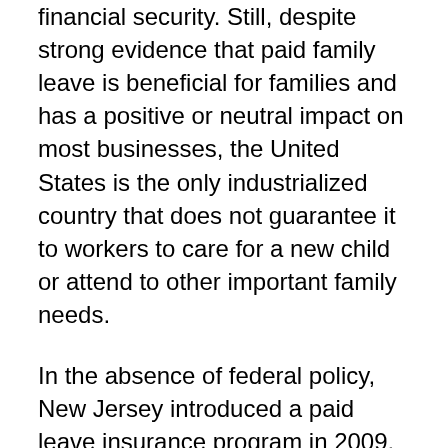financial security. Still, despite strong evidence that paid family leave is beneficial for families and has a positive or neutral impact on most businesses, the United States is the only industrialized country that does not guarantee it to workers to care for a new child or attend to other important family needs.
In the absence of federal policy, New Jersey introduced a paid leave insurance program in 2009, and is one of only three states to offer such a program. New Jersey's Family Leave Insurance (FLI) program is funded through an employee payroll tax and provides up to six weeks of paid leave to bond with a new child or care for a seriously ill family member. Although a limited body